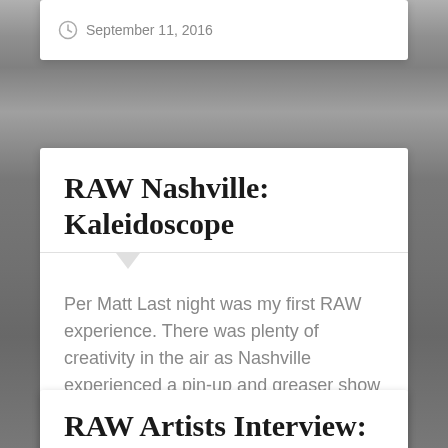September 11, 2016
RAW Nashville: Kaleidoscope
Per Matt Last night was my first RAW experience. There was plenty of creativity in the air as Nashville experienced a pin-up and greaser show like no other.
June 21, 2013
RAW Artists Interview: Jessica Winters